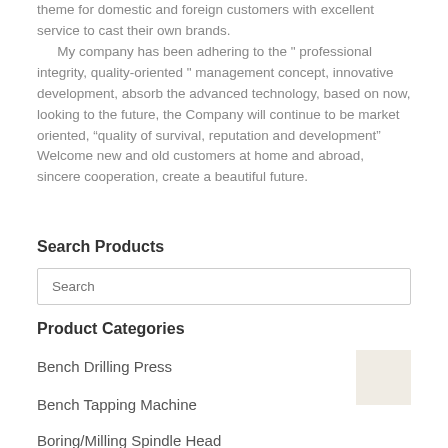theme for domestic and foreign customers with excellent service to cast their own brands.
  My company has been adhering to the " professional integrity, quality-oriented " management concept, innovative development, absorb the advanced technology, based on now, looking to the future, the Company will continue to be market oriented, “quality of survival, reputation and development” Welcome new and old customers at home and abroad, sincere cooperation, create a beautiful future.
Search Products
Search
Product Categories
Bench Drilling Press
Bench Tapping Machine
Boring/Milling Spindle Head